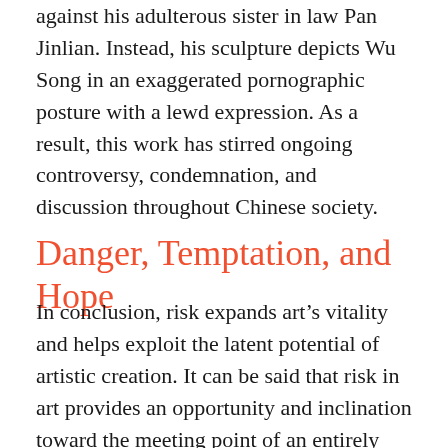against his adulterous sister in law Pan Jinlian. Instead, his sculpture depicts Wu Song in an exaggerated pornographic posture with a lewd expression. As a result, this work has stirred ongoing controversy, condemnation, and discussion throughout Chinese society.
Danger, Temptation, and Hope
In conclusion, risk expands art's vitality and helps exploit the latent potential of artistic creation. It can be said that risk in art provides an opportunity and inclination toward the meeting point of an entirely new situation: a juncture for writing a new page in history. In China, the state could be considered the